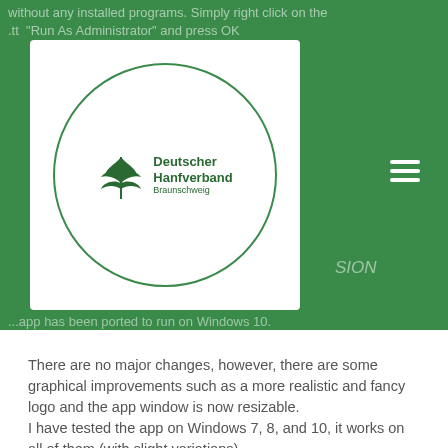without any installed programs. Simply right click on the .tt "Run As Administrator" and press OK
[Figure (logo): Deutscher Hanfverband Braunschweig logo — circular green border with cannabis leaf icon and text]
SION
...app has been ported to run on Windows 10.
There are no major changes, however, there are some graphical improvements such as a more realistic and fancy logo and the app window is now resizable.
I have tested the app on Windows 7, 8, and 10, it works on all of them (with slight variations).
THE DOWNLOAD LINK:
Link removed. Sorry, but we're not going to host the app any longer and we would prefer it to be on a different website for reasons that we will not reveal here.